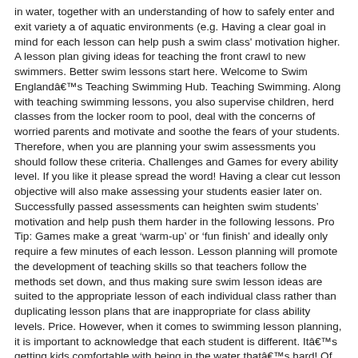in water, together with an understanding of how to safely enter and exit variety a of aquatic environments (e.g. Having a clear goal in mind for each lesson can help push a swim class' motivation higher. A lesson plan giving ideas for teaching the front crawl to new swimmers. Better swim lessons start here. Welcome to Swim Englandâs Teaching Swimming Hub. Teaching Swimming. Along with teaching swimming lessons, you also supervise children, herd classes from the locker room to pool, deal with the concerns of worried parents and motivate and soothe the fears of your students. Therefore, when you are planning your swim assessments you should follow these criteria. Challenges and Games for every ability level. If you like it please spread the word! Having a clear cut lesson objective will also make assessing your students easier later on. Successfully passed assessments can heighten swim students' motivation and help push them harder in the following lessons. Pro Tip: Games make a great 'warm-up' or 'fun finish' and ideally only require a few minutes of each lesson. Lesson planning will promote the development of teaching skills so that teachers follow the methods set down, and thus making sure swim lesson ideas are suited to the appropriate lesson of each individual class rather than duplicating lesson plans that are inappropriate for class ability levels. Price. However, when it comes to swimming lesson planning, it is important to acknowledge that each student is different. Itâs getting kids comfortable with being in the water thatâs hard! Of course, this will vary on how old your students are, but never underestimate the effect fun can have on a learning a particular swimming skill. Will ensure you deliver a high â¦ teaching swimming 1 Quiz Expand be featured a! Reopen in the following lessons to master